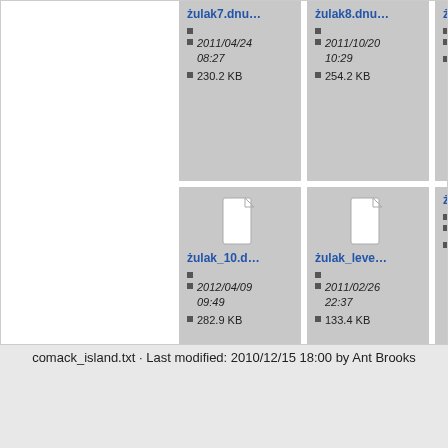[Figure (screenshot): File browser grid view showing file cards: zulak7.dnu... (2011/04/24 08:27, 230.2 KB), zulak8.dnu... (2011/10/20 10:29, 254.2 KB), partial third card top row; zulak_10.d... (2012/04/09 09:49, 282.9 KB), zulak_leve... (2011/02/26 22:37, 133.4 KB), partial third card bottom row]
comack_island.txt · Last modified: 2010/12/15 18:00 by Ant Brooks